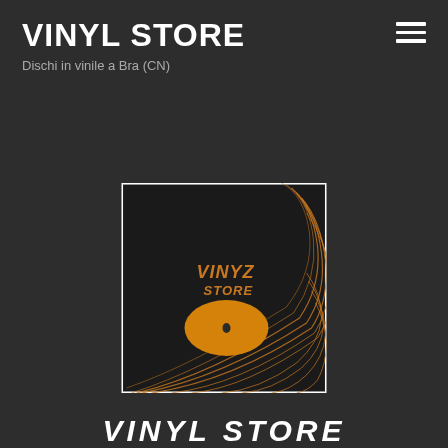VINYL STORE
Dischi in vinile a Bra (CN)
[Figure (logo): Vinyl Store logo: square dark background with orange vinyl record grooves and orange center label. Text 'VINYZ STORE' in orange italic letters on the record.]
VINYL STORE